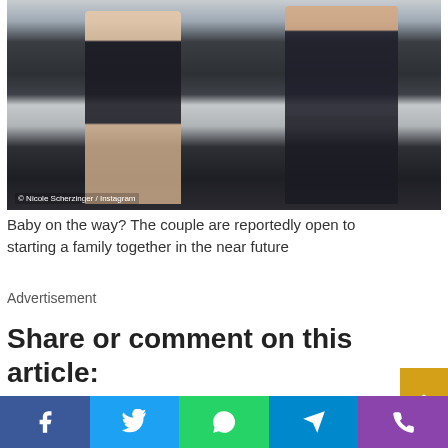[Figure (photo): A shirtless muscular man wearing dark shorts and a woman in dark athletic wear (sports bra and leggings) posing together outdoors against a white wall with greenery. Photo credited to Nicole Scherzinger / Instagram.]
Baby on the way? The couple are reportedly open to starting a family together in the near future
Advertisement
Share or comment on this article: